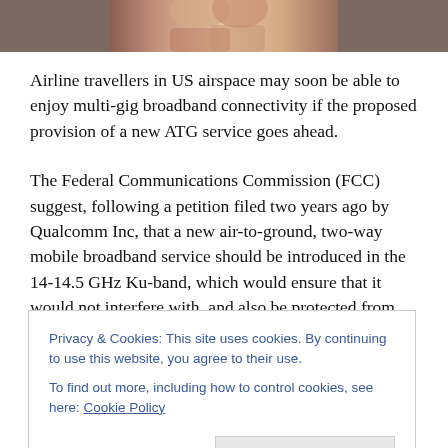[Figure (photo): Cropped photo of people, likely airline passengers, partially visible at top of page]
Airline travellers in US airspace may soon be able to enjoy multi-gig broadband connectivity if the proposed provision of a new ATG service goes ahead.
The Federal Communications Commission (FCC) suggest, following a petition filed two years ago by Qualcomm Inc, that a new air-to-ground, two-way mobile broadband service should be introduced in the 14-14.5 GHz Ku-band, which would ensure that it would not interfere with, and also be protected from other users operating essential
Privacy & Cookies: This site uses cookies. By continuing to use this website, you agree to their use.
To find out more, including how to control cookies, see here: Cookie Policy
once these terms are agreed, for the issue of the contracts